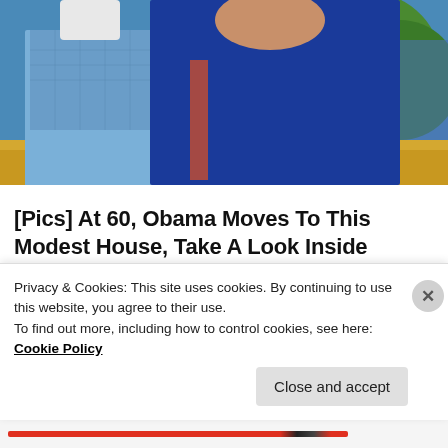[Figure (photo): Cropped photo of two people outdoors, man in blue checkered shirt and woman in dark blue dress, with green trees and orange/yellow background]
[Pics] At 60, Obama Moves To This Modest House, Take A Look Inside
BuzzAura
[Figure (photo): Thumbnail of a blonde woman in red top pointing at a chalkboard with writing]
We Will Guess Your Education Level in 20 Questions
Bon Voyaged
Privacy & Cookies: This site uses cookies. By continuing to use this website, you agree to their use.
To find out more, including how to control cookies, see here: Cookie Policy